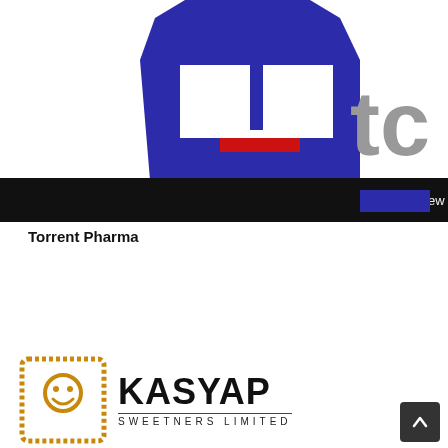[Figure (logo): Torrent Pharma logo — blue house/building shape with two white square windows and a red accent bar at base, with partial grey 'tc' text to the right and a black horizontal band across the bottom with a 'view l' button visible]
Torrent Pharma
[Figure (logo): Kasyap Sweetners Limited logo — golden ornate square frame with smiley face on left, bold black KASYAP text with SWEETNERS LIMITED in spaced letters beneath, underlined]
[Figure (other): Dark scroll-to-top button with upward chevron arrow, bottom right corner]